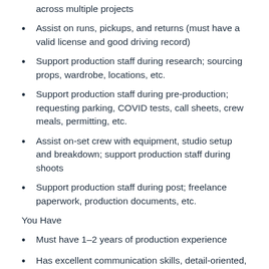across multiple projects
Assist on runs, pickups, and returns (must have a valid license and good driving record)
Support production staff during research; sourcing props, wardrobe, locations, etc.
Support production staff during pre-production; requesting parking, COVID tests, call sheets, crew meals, permitting, etc.
Assist on-set crew with equipment, studio setup and breakdown; support production staff during shoots
Support production staff during post; freelance paperwork, production documents, etc.
You Have
Must have 1–2 years of production experience
Has excellent communication skills, detail-oriented, and organized